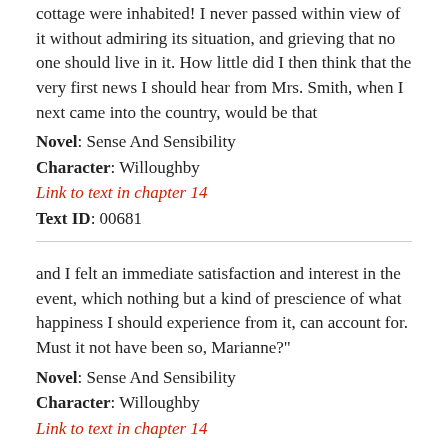cottage were inhabited! I never passed within view of it without admiring its situation, and grieving that no one should live in it. How little did I then think that the very first news I should hear from Mrs. Smith, when I next came into the country, would be that
Novel: Sense And Sensibility
Character: Willoughby
Link to text in chapter 14
Text ID: 00681
and I felt an immediate satisfaction and interest in the event, which nothing but a kind of prescience of what happiness I should experience from it, can account for. Must it not have been so, Marianne?"
Novel: Sense And Sensibility
Character: Willoughby
Link to text in chapter 14
Text ID: 00683
"And yet this house you would spoil, Mrs. Dashwood? You would rob it of its simplicity by imaginary improvement! and